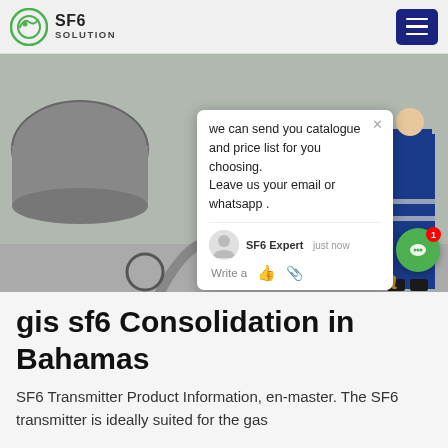SF6 SOLUTION
[Figure (photo): Industrial SF6 gas equipment being used at a site — a large red equipment unit with control panel, a worker in blue coveralls with reflective stripes, industrial tanks and pipes in the background. A chat popup overlay is visible with text: 'we can send you catalogue and price list for you choosing. Leave us your email or whatsapp .' Signed by SF6 Expert, 'just now'. Green chat button with badge '1' on the right side.]
gis sf6 Consolidation in Bahamas
SF6 Transmitter Product Information, en-master. The SF6 transmitter is ideally suited for the gas